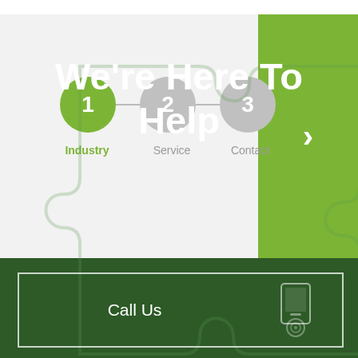[Figure (infographic): Step wizard with 3 steps: step 1 (Industry) is active in green, steps 2 (Service) and 3 (Contact) are inactive gray circles connected by a gray line. A green arrow button appears on the right side.]
[Figure (illustration): Dark green background with a faint darker puzzle piece pattern overlay. Large white bold text reads 'We're Here To Help'. Below is a white-bordered button row with 'Call Us' text and a phone icon on the right.]